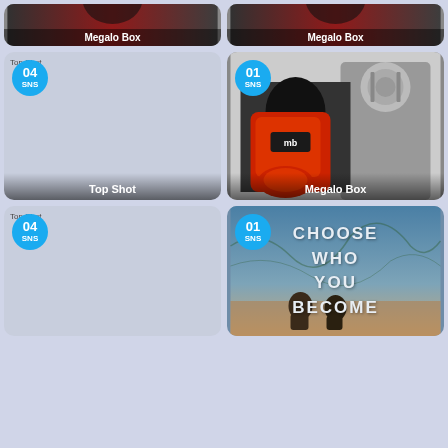[Figure (screenshot): Top partial card: Megalo Box cover art cropped, label at bottom]
[Figure (screenshot): Top partial card: Megalo Box cover art cropped, label at bottom]
[Figure (screenshot): Middle-left card: Top Shot placeholder with badge 04 SNS, title 'Top Shot' at bottom]
[Figure (screenshot): Middle-right card: Megalo Box anime art with badge 01 SNS, title 'Megalo Box' at bottom]
[Figure (screenshot): Bottom-left card: Top Shot placeholder with badge 04 SNS]
[Figure (screenshot): Bottom-right card: 'CHOOSE WHO YOU BECOME' text over movie poster art with badge 01 SNS]